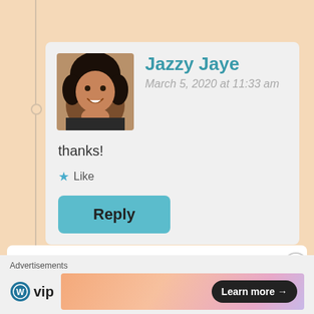Jazzy Jaye
March 5, 2020 at 11:33 am
thanks!
Like
Reply
[Figure (photo): Avatar photo of Jazzy Jaye, a smiling woman with curly hair]
johnranjit
[Figure (logo): JR monogram logo in white on black background]
Advertisements
WP vip
Learn more →